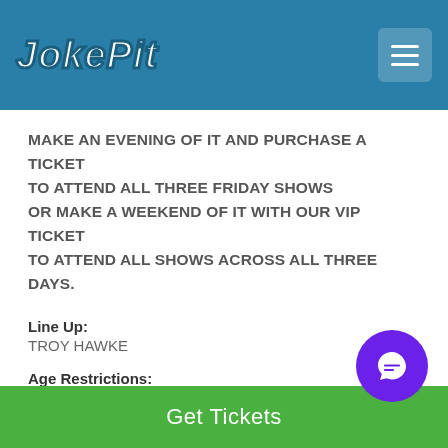JokePit
MAKE AN EVENING OF IT AND PURCHASE A TICKET TO ATTEND ALL THREE FRIDAY SHOWS OR MAKE A WEEKEND OF IT WITH OUR VIP TICKET TO ATTEND ALL SHOWS ACROSS ALL THREE DAYS.
Line Up:
TROY HAWKE
Age Restrictions:
Suitable for ages 16+
Venue opens at:
Get Tickets